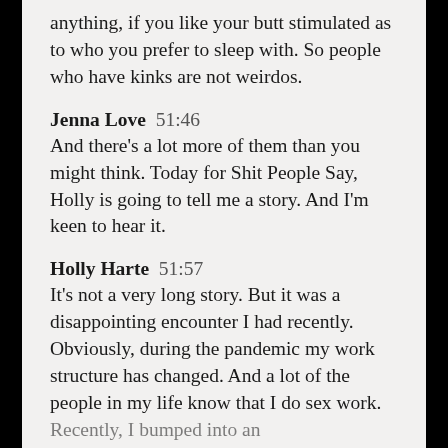anything, if you like your butt stimulated as to who you prefer to sleep with. So people who have kinks are not weirdos.
Jenna Love  51:46
And there's a lot more of them than you might think. Today for Shit People Say, Holly is going to tell me a story. And I'm keen to hear it.
Holly Harte  51:57
It's not a very long story. But it was a disappointing encounter I had recently. Obviously, during the pandemic my work structure has changed. And a lot of the people in my life know that I do sex work. Recently, I bumped into an